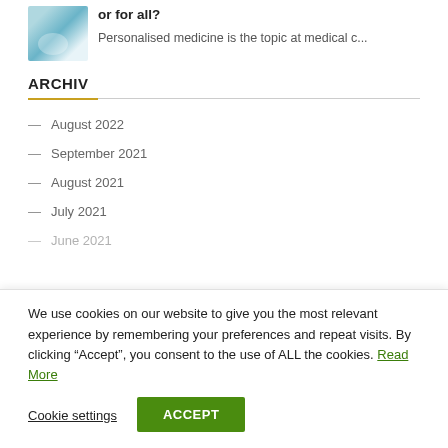[Figure (photo): Medical/laboratory image with blue-teal tones, appears to show lab equipment or medical context]
or for all?
Personalised medicine is the topic at medical c...
ARCHIV
— August 2022
— September 2021
— August 2021
— July 2021
— June 2021
We use cookies on our website to give you the most relevant experience by remembering your preferences and repeat visits. By clicking “Accept”, you consent to the use of ALL the cookies. Read More
Cookie settings
ACCEPT